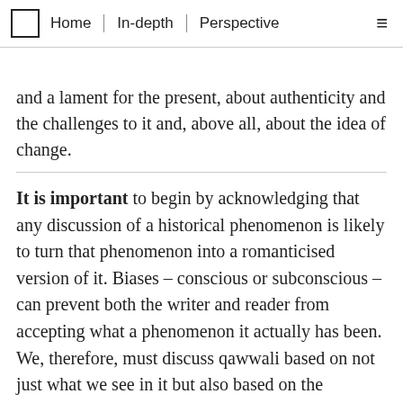Home | In-depth | Perspective
and a lament for the present, about authenticity and the challenges to it and, above all, about the idea of change.
It is important to begin by acknowledging that any discussion of a historical phenomenon is likely to turn that phenomenon into a romanticised version of it. Biases – conscious or subconscious – can prevent both the writer and reader from accepting what a phenomenon it actually has been. We, therefore, must discuss qawwali based on not just what we see in it but also based on the historical origins of shrines it was performed at, the personalities it was written and sung by and the audiences that attended its